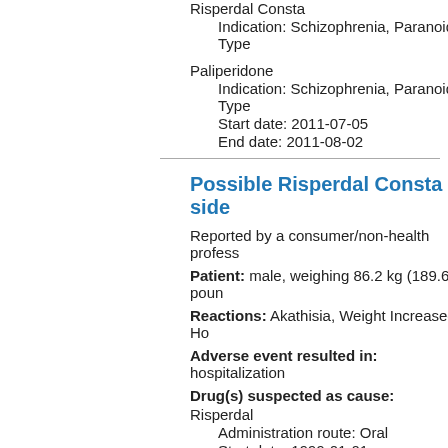Risperdal Consta
Indication: Schizophrenia, Paranoid Type
Paliperidone
Indication: Schizophrenia, Paranoid Type
Start date: 2011-07-05
End date: 2011-08-02
Possible Risperdal Consta side
Reported by a consumer/non-health profess
Patient: male, weighing 86.2 kg (189.6 poun
Reactions: Akathisia, Weight Increased, Ho
Adverse event resulted in: hospitalization
Drug(s) suspected as cause:
Risperdal
Administration route: Oral
Start date: 1999-01-01
Risperdal Consta
Indication: Risperdal FOR Hel